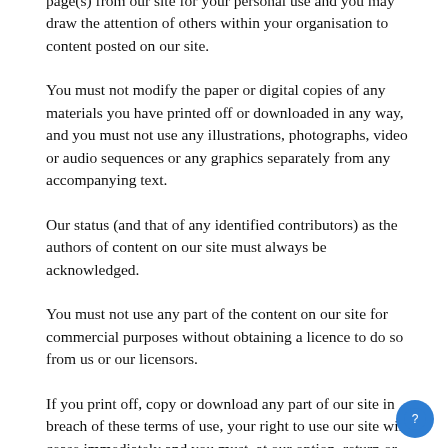page(s) from our site for your personal use and you may draw the attention of others within your organisation to content posted on our site.
You must not modify the paper or digital copies of any materials you have printed off or downloaded in any way, and you must not use any illustrations, photographs, video or audio sequences or any graphics separately from any accompanying text.
Our status (and that of any identified contributors) as the authors of content on our site must always be acknowledged.
You must not use any part of the content on our site for commercial purposes without obtaining a licence to do so from us or our licensors.
If you print off, copy or download any part of our site in breach of these terms of use, your right to use our site will cease immediately and you must, at our option, return or destroy any